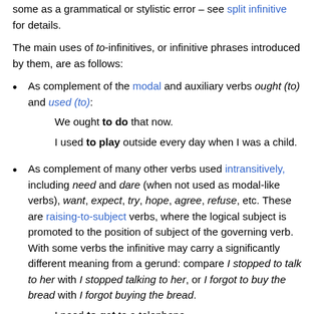some as a grammatical or stylistic error – see split infinitive for details.
The main uses of to-infinitives, or infinitive phrases introduced by them, are as follows:
As complement of the modal and auxiliary verbs ought (to) and used (to): We ought to do that now. I used to play outside every day when I was a child.
As complement of many other verbs used intransitively, including need and dare (when not used as modal-like verbs), want, expect, try, hope, agree, refuse, etc. These are raising-to-subject verbs, where the logical subject is promoted to the position of subject of the governing verb. With some verbs the infinitive may carry a significantly different meaning from a gerund: compare I stopped to talk to her with I stopped talking to her, or I forgot to buy the bread with I forgot buying the bread. I need to get to a telephone. Try not to make so many mistakes. They preferred to visit.